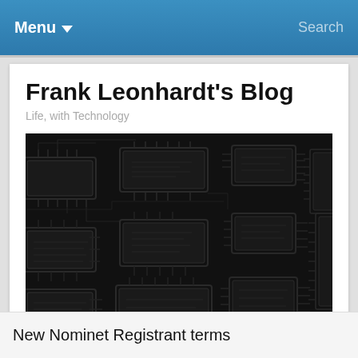Menu ▾   Search
Frank Leonhardt's Blog
Life, with Technology
[Figure (illustration): Dark circuit board background image showing PCB traces and IC chip outlines in a dark embossed style]
New Nominet Registrant terms